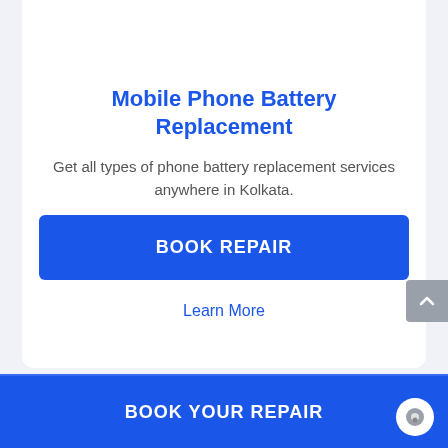Mobile Phone Battery Replacement
Get all types of phone battery replacement services anywhere in Kolkata.
BOOK REPAIR
Learn More
BOOK YOUR REPAIR